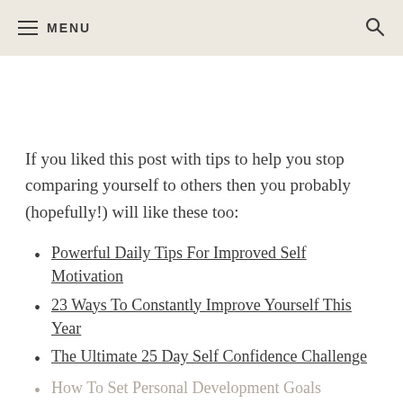MENU
If you liked this post with tips to help you stop comparing yourself to others then you probably (hopefully!) will like these too:
Powerful Daily Tips For Improved Self Motivation
23 Ways To Constantly Improve Yourself This Year
The Ultimate 25 Day Self Confidence Challenge
How To Set Personal Development Goals
21 Ideas For Your 2021 Vision Board